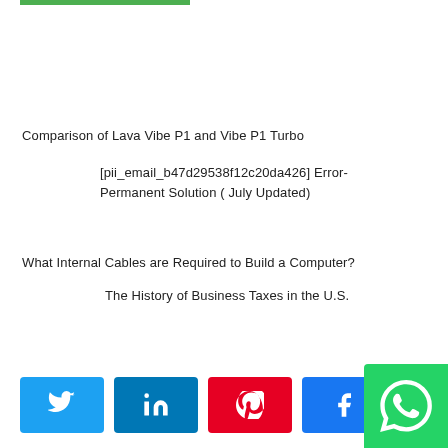[Figure (other): Green horizontal bar at top of page]
Comparison of Lava Vibe P1 and Vibe P1 Turbo
[pii_email_b47d29538f12c20da426] Error- Permanent Solution ( July Updated)
What Internal Cables are Required to Build a Computer?
The History of Business Taxes in the U.S.
[Figure (other): Social share buttons bar at bottom: Twitter (blue), LinkedIn (dark blue), Pinterest (red), Facebook (blue), share icon, WhatsApp (green)]